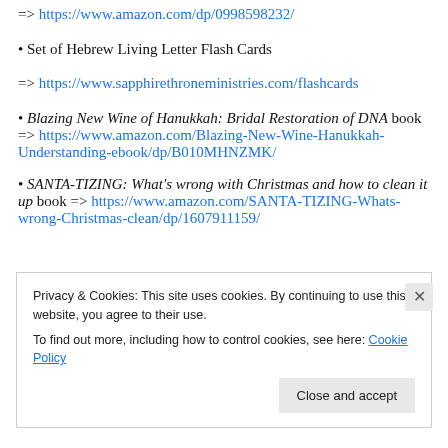• Set of Hebrew Living Letter Flash Cards => https://www.sapphirethroneministries.com/flashcards
• Blazing New Wine of Hanukkah: Bridal Restoration of DNA book => https://www.amazon.com/Blazing-New-Wine-Hanukkah-Understanding-ebook/dp/B010MHNZMK/
• SANTA-TIZING: What's wrong with Christmas and how to clean it up book => https://www.amazon.com/SANTA-TIZING-Whats-wrong-Christmas-clean/dp/1607911159/
Privacy & Cookies: This site uses cookies. By continuing to use this website, you agree to their use. To find out more, including how to control cookies, see here: Cookie Policy